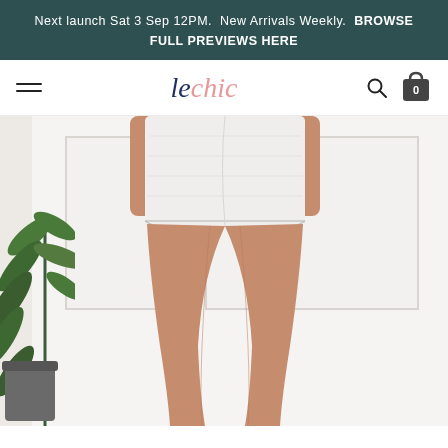Next launch Sat 3 Sep 12PM. New Arrivals Weekly. BROWSE FULL PREVIEWS HERE
[Figure (logo): Le Chic fashion retail website screenshot showing navigation bar with hamburger menu, 'lechic' logo in navy and pink italic script, search icon, and cart icon showing 0 items]
[Figure (photo): Female model wearing white lace/textured shorts, cropped view showing waist to upper calves, standing against white paneled wall with tropical plant on left and grey planter pot, light neutral background]